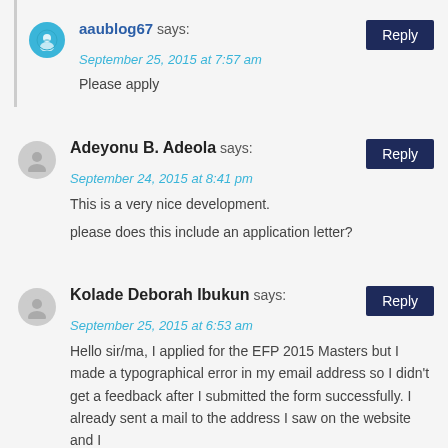aaublog67 says: September 25, 2015 at 7:57 am — Please apply — Reply
Adeyonu B. Adeola says: September 24, 2015 at 8:41 pm — This is a very nice development. please does this include an application letter? — Reply
Kolade Deborah Ibukun says: September 25, 2015 at 6:53 am — Hello sir/ma, I applied for the EFP 2015 Masters but I made a typographical error in my email address so I didn't get a feedback after I submitted the form successfully. I already sent a mail to the address I saw on the website and I — Reply